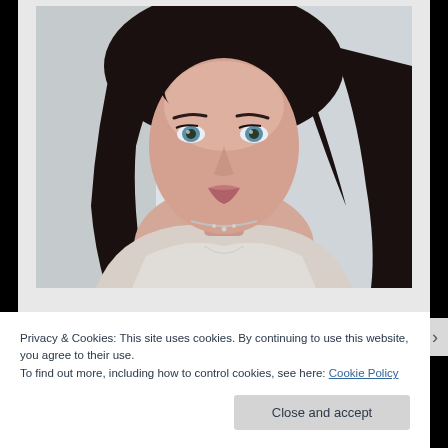[Figure (photo): Portrait photo of a young woman with dark hair and blue eyes, wearing a white top and silver necklace, looking at camera with a slight smile. Light gray/white blurred background.]
Privacy & Cookies: This site uses cookies. By continuing to use this website, you agree to their use.
To find out more, including how to control cookies, see here: Cookie Policy
Close and accept